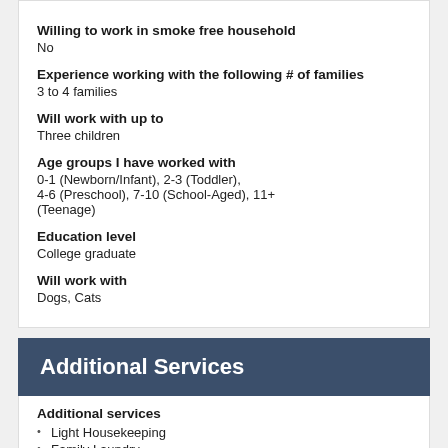Willing to work in smoke free household
No
Experience working with the following # of families
3 to 4 families
Will work with up to
Three children
Age groups I have worked with
0-1 (Newborn/Infant), 2-3 (Toddler), 4-6 (Preschool), 7-10 (School-Aged), 11+ (Teenage)
Education level
College graduate
Will work with
Dogs, Cats
Additional Services
Additional services
Light Housekeeping
Family Laundry